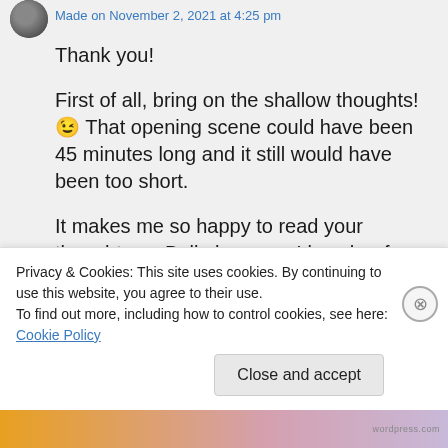Made on November 2, 2021 at 4:25 pm
Thank you!

First of all, bring on the shallow thoughts! 😉 That opening scene could have been 45 minutes long and it still would have been too short.

It makes me so happy to read your thoughts on Belle because I love her for the exact reasons you wrote: Her bravery isn't flashy, but it endures. And she's always
Privacy & Cookies: This site uses cookies. By continuing to use this website, you agree to their use.
To find out more, including how to control cookies, see here: Cookie Policy
Close and accept